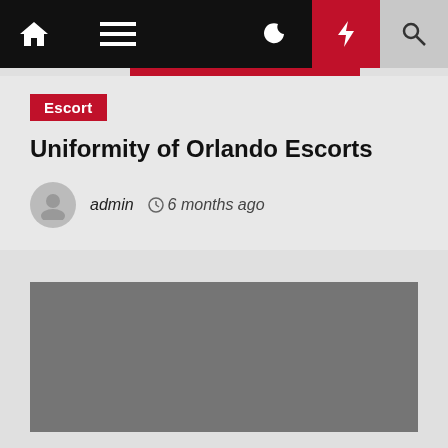Navigation bar with home, menu, moon, bolt, and search icons
Escort
Uniformity of Orlando Escorts
admin  6 months ago
[Figure (photo): Gray image placeholder rectangle]